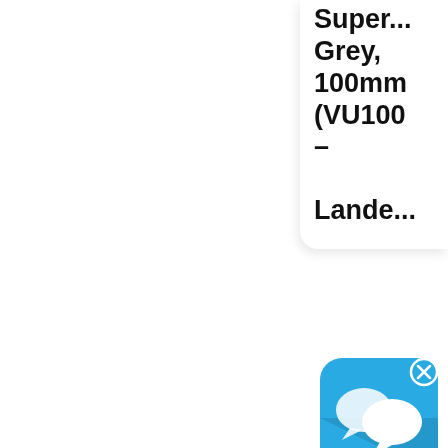Super... Grey, 100mm (VU100 – Lande...
[Figure (screenshot): Chat application icon - blue rounded square with two white speech bubbles, with a close X button]
[Figure (photo): Product image showing a hose or steel component with yellow label]
Federo... Hose 10651 304 Stainless Steel SF500...